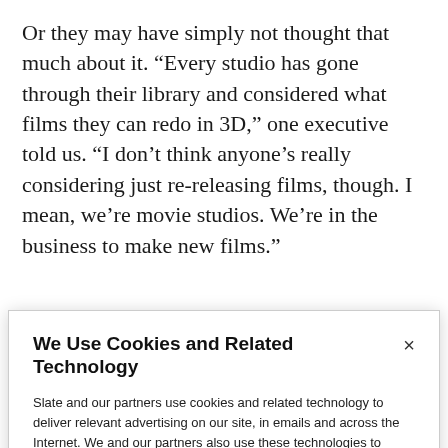Or they may have simply not thought that much about it. “Every studio has gone through their library and considered what films they can redo in 3D,” one executive told us. “I don’t think anyone’s really considering just re-releasing films, though. I mean, we’re movie studios. We’re in the business to make new films.”
[Figure (other): Social sharing bar with Tweet, Share, and Comment buttons]
We Use Cookies and Related Technology
Slate and our partners use cookies and related technology to deliver relevant advertising on our site, in emails and across the Internet. We and our partners also use these technologies to personalize content and perform site analytics. For more information, see our terms and privacy policy. Privacy Policy
OK